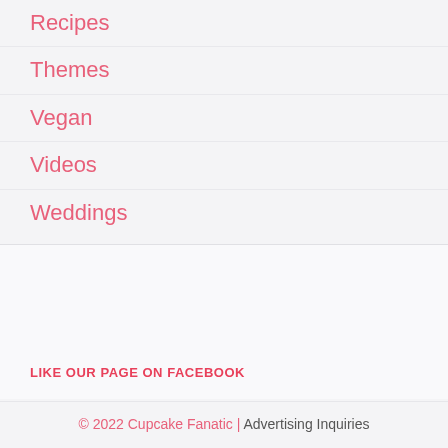Recipes
Themes
Vegan
Videos
Weddings
LIKE OUR PAGE ON FACEBOOK
© 2022 Cupcake Fanatic | Advertising Inquiries